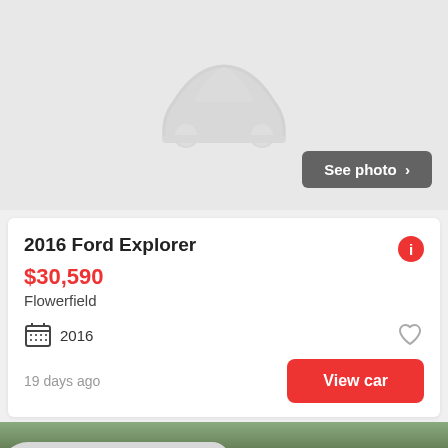[Figure (screenshot): Car listing placeholder image with gray car silhouette icon and 'See photo >' button in dark gray rounded rectangle at bottom right]
2016 Ford Explorer
$30,590
Flowerfield
2016
19 days ago
View car
[Figure (photo): Partial photo of car dealership lot showing a white SUV in foreground and a red SUV in background]